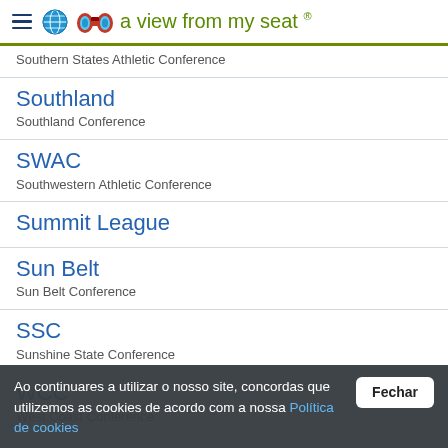a view from my seat ®
Southern States Athletic Conference
Southland
Southland Conference
SWAC
Southwestern Athletic Conference
Summit League
Sun Belt
Sun Belt Conference
SSC
Sunshine State Conference
WCC
West Coast Conference
WAC
Western Athletic Conference
WIAC
Wisconsin Intercollegiate Athletic Conference
Ao continuares a utilizar o nosso site, concordas que utilizemos as cookies de acordo com a nossa Política de cookies  Fechar